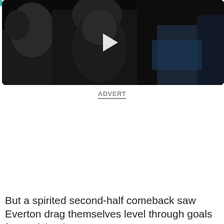[Figure (screenshot): Video player with black background showing a play button in the center, with people visible in a stadium/crowd setting]
ADVERT
But a spirited second-half comeback saw Everton drag themselves level through goals from Michael